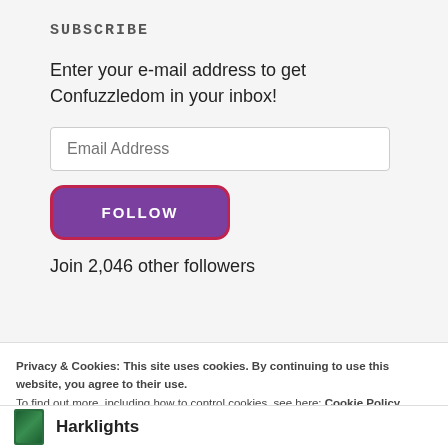SUBSCRIBE
Enter your e-mail address to get Confuzzledom in your inbox!
Join 2,046 other followers
Privacy & Cookies: This site uses cookies. By continuing to use this website, you agree to their use.
To find out more, including how to control cookies, see here: Cookie Policy
Close and accept
Harklights